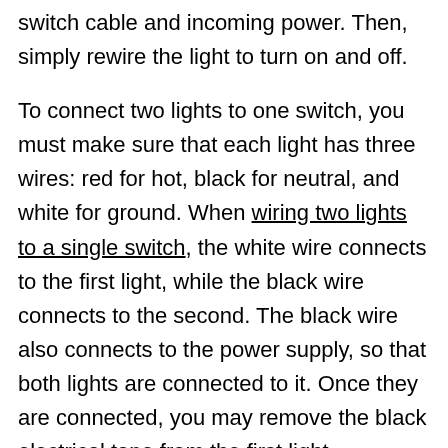switch cable and incoming power. Then, simply rewire the light to turn on and off.
To connect two lights to one switch, you must make sure that each light has three wires: red for hot, black for neutral, and white for ground. When wiring two lights to a single switch, the white wire connects to the first light, while the black wire connects to the second. The black wire also connects to the power supply, so that both lights are connected to it. Once they are connected, you may remove the black electrical tape from the first light.